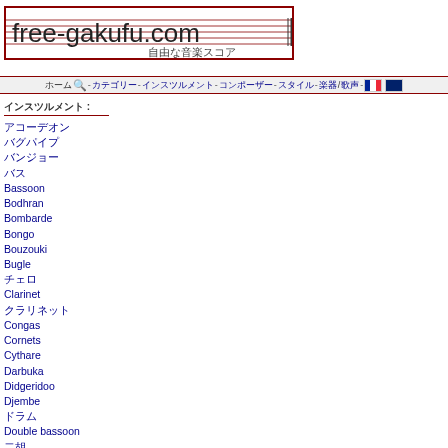[Figure (logo): free-gakufu.com logo with music staff lines and Japanese subtitle 自由な音楽スコア]
ホーム 🔍 - カテゴリー - インスツルメント - コンポーザー - スタイル - 楽器 / 歌声 -
インスツルメント :
アコーデオン
バグパイプ
バンジョー
バス
Bassoon
Bodhran
Bombarde
Bongo
Bouzouki
Bugle
チェロ
Clarinet
クラリネット
Congas
Cornets
Cythare
Darbuka
Didgeridoo
Djembe
ドラム
Double bassoon
二胡
Dulcimer
ダルシマー
Euphonium & saxhorn
Fife
フルート
胡弓
ギター
Harpa
Harpsichord
ハープシコード
Luth
Mandolin